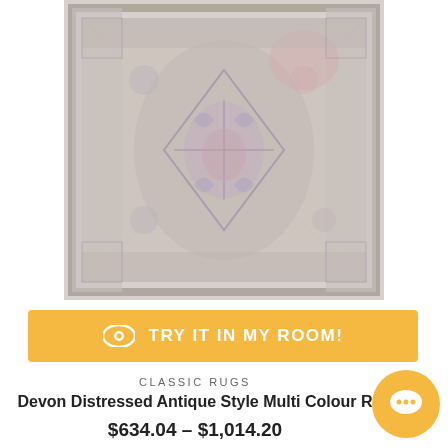[Figure (photo): Distressed antique style area rug with muted purple, pink, and grey tones featuring a traditional Persian medallion pattern]
TRY IT IN MY ROOM!
CLASSIC RUGS
Devon Distressed Antique Style Multi Colour R
$634.04 – $1,014.20